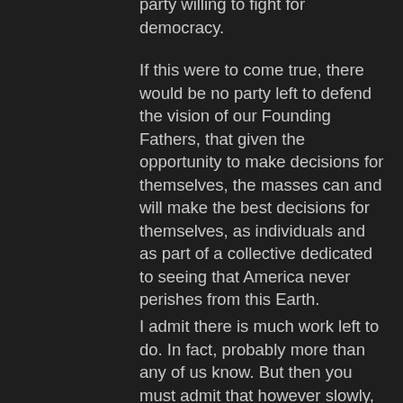party willing to fight for democracy.
If this were to come true, there would be no party left to defend the vision of our Founding Fathers, that given the opportunity to make decisions for themselves, the masses can and will make the best decisions for themselves, as individuals and as part of a collective dedicated to seeing that America never perishes from this Earth.
I admit there is much work left to do. In fact, probably more than any of us know. But then you must admit that however slowly, our secret weapon, the truth, is coming out and with the revelations of the January 6th committee, we are seeing a little more of the true picture of a